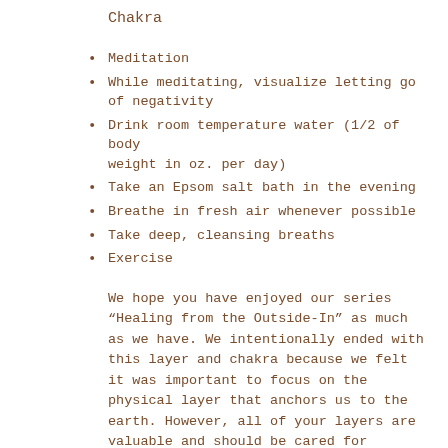Chakra
Meditation
While meditating, visualize letting go of negativity
Drink room temperature water (1/2 of body weight in oz. per day)
Take an Epsom salt bath in the evening
Breathe in fresh air whenever possible
Take deep, cleansing breaths
Exercise
We hope you have enjoyed our series “Healing from the Outside-In” as much as we have. We intentionally ended with this layer and chakra because we felt it was important to focus on the physical layer that anchors us to the earth. However, all of your layers are valuable and should be cared for because they care for you, they are your “bubble wrap” around your body and will always work better if you keep them in tip-top shape.